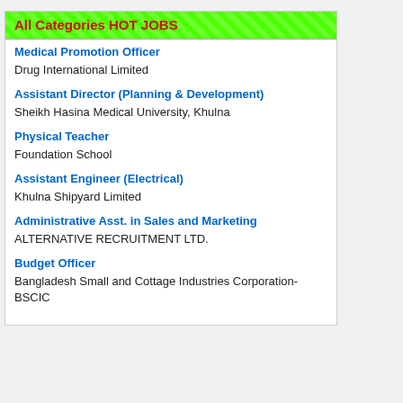All Categories HOT JOBS
Medical Promotion Officer
Drug International Limited
Assistant Director (Planning & Development)
Sheikh Hasina Medical University, Khulna
Physical Teacher
Foundation School
Assistant Engineer (Electrical)
Khulna Shipyard Limited
Administrative Asst. in Sales and Marketing
ALTERNATIVE RECRUITMENT LTD.
Budget Officer
Bangladesh Small and Cottage Industries Corporation-BSCIC